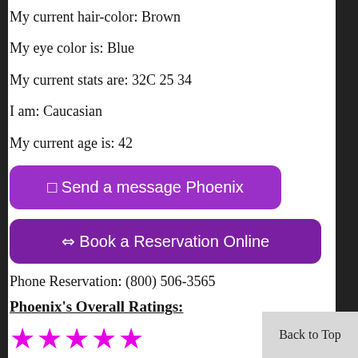My current hair-color: Brown
My eye color is: Blue
My current stats are: 32C 25 34
I am: Caucasian
My current age is: 42
⊡ Send a message Phoenix
⇔ Book a Reservation Online
Phone Reservation: (800) 506-3565
Phoenix's Overall Ratings:
★★★★★
5.0/5.0
(Based on 27 client Reviews)
Back to Top